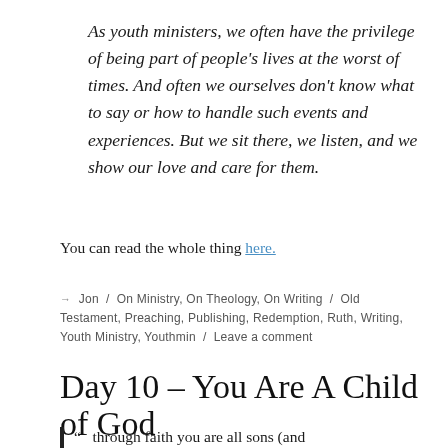As youth ministers, we often have the privilege of being part of people's lives at the worst of times. And often we ourselves don't know what to say or how to handle such events and experiences. But we sit there, we listen, and we show our love and care for them.
You can read the whole thing here.
→ Jon / On Ministry, On Theology, On Writing / Old Testament, Preaching, Publishing, Redemption, Ruth, Writing, Youth Ministry, Youthmin / Leave a comment
Day 10 – You Are A Child of God
" through faith you are all sons (and